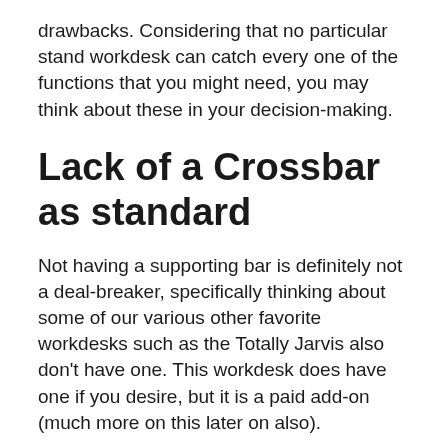drawbacks. Considering that no particular stand workdesk can catch every one of the functions that you might need, you may think about these in your decision-making.
Lack of a Crossbar as standard
Not having a supporting bar is definitely not a deal-breaker, specifically thinking about some of our various other favorite workdesks such as the Totally Jarvis also don’t have one. This workdesk does have one if you desire, but it is a paid add-on (much more on this later on also).
The bar is seen by some as a barrier, making